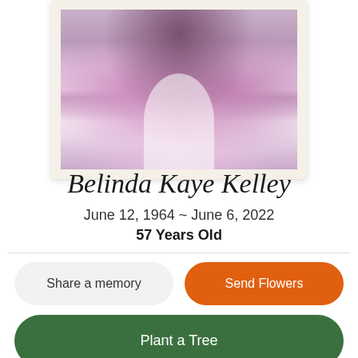[Figure (photo): Portrait photo of Belinda Kaye Kelley wearing a white lacy top and pink/purple scarf, shown from the shoulders up, displayed in a white frame with cream mat]
Belinda Kaye Kelley
June 12, 1964 ~ June 6, 2022
57 Years Old